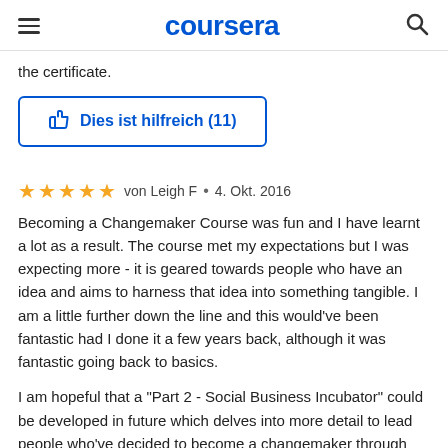coursera
the certificate.
Dies ist hilfreich (11)
von Leigh F • 4. Okt. 2016
Becoming a Changemaker Course was fun and I have learnt a lot as a result. The course met my expectations but I was expecting more - it is geared towards people who have an idea and aims to harness that idea into something tangible. I am a little further down the line and this would've been fantastic had I done it a few years back, although it was fantastic going back to basics.
I am hopeful that a "Part 2 - Social Business Incubator" could be developed in future which delves into more detail to lead people who've decided to become a changemaker through the process of putting together a business case and